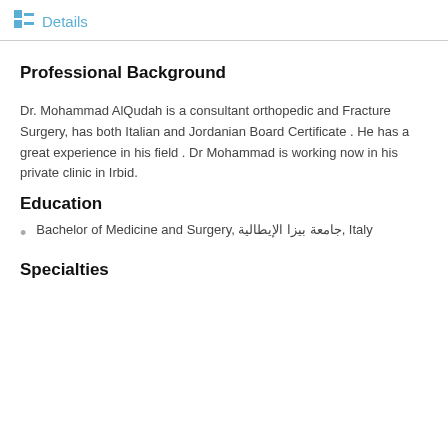Details
Professional Background
Dr. Mohammad AlQudah is a consultant orthopedic and Fracture Surgery, has both Italian and Jordanian Board Certificate . He has a great experience in his field . Dr Mohammad is working now in his private clinic in Irbid.
Education
Bachelor of Medicine and Surgery, جامعة بيزا الإيطالية, Italy
Specialties